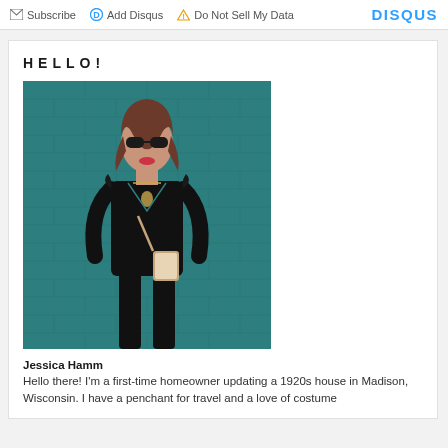Subscribe  Add Disqus  Do Not Sell My Data  DISQUS
HELLO!
[Figure (photo): A woman in a black jumpsuit and sunglasses standing against a teal brick wall, carrying a small crossbody bag.]
Jessica Hamm
Hello there! I'm a first-time homeowner updating a 1920s house in Madison, Wisconsin. I have a penchant for travel and a love of costume